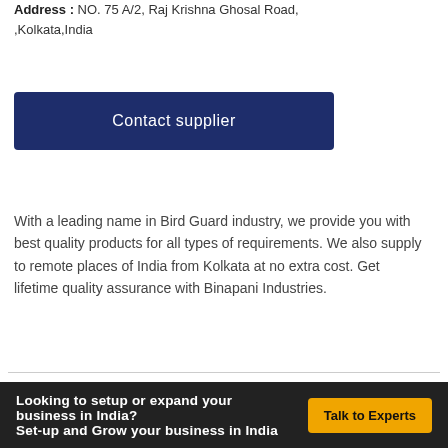Address : NO. 75 A/2, Raj Krishna Ghosal Road, ,Kolkata,India
[Figure (other): Dark navy blue 'Contact supplier' button]
With a leading name in Bird Guard industry, we provide you with best quality products for all types of requirements. We also supply to remote places of India from Kolkata at no extra cost. Get lifetime quality assurance with Binapani Industries.
Looking to setup or expand your business in India?
Set-up and Grow your business in India
Talk to Experts